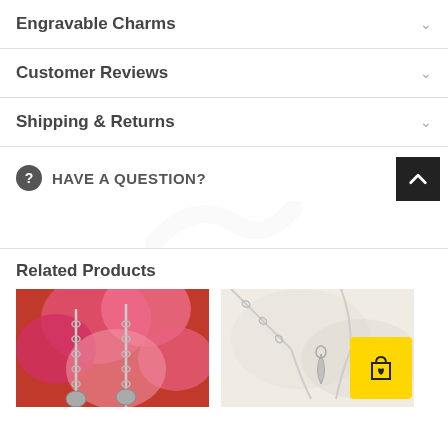Engravable Charms
Customer Reviews
Shipping & Returns
HAVE A QUESTION?
Related Products
[Figure (photo): Product thumbnail of jewellery/charms with pink floral background]
[Figure (photo): Product thumbnail of silver necklace pendant on white background]